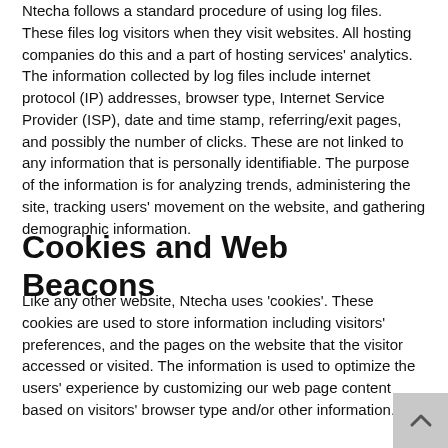Ntecha follows a standard procedure of using log files. These files log visitors when they visit websites. All hosting companies do this and a part of hosting services' analytics. The information collected by log files include internet protocol (IP) addresses, browser type, Internet Service Provider (ISP), date and time stamp, referring/exit pages, and possibly the number of clicks. These are not linked to any information that is personally identifiable. The purpose of the information is for analyzing trends, administering the site, tracking users' movement on the website, and gathering demographic information.
Cookies and Web Beacons
Like any other website, Ntecha uses 'cookies'. These cookies are used to store information including visitors' preferences, and the pages on the website that the visitor accessed or visited. The information is used to optimize the users' experience by customizing our web page content based on visitors' browser type and/or other information.